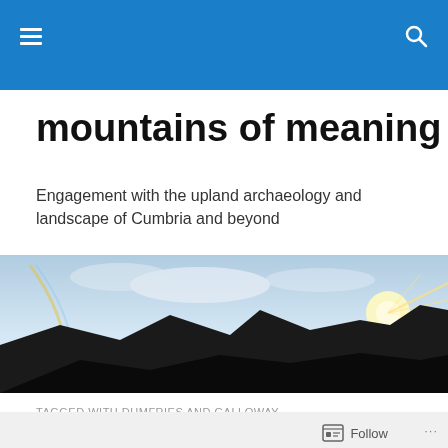mountains of meaning — navigation header bar
mountains of meaning
Engagement with the upland archaeology and landscape of Cumbria and beyond
[Figure (photo): Panoramic silhouette of mountains against a bright sky with sun glare and possible rainbow effect on the left side]
TAGGED WITH DUMFRIES AND GALLOWAY
[Figure (photo): Mostly black/dark image, beginning of a blog post photo]
Follow ...